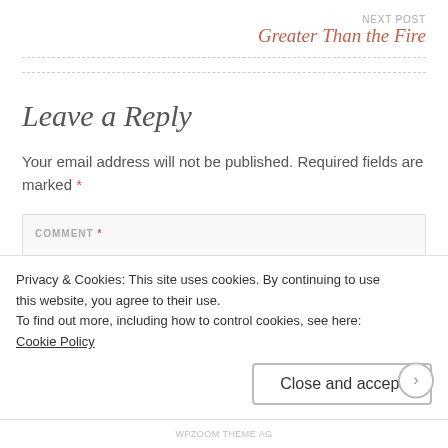NEXT POST
Greater Than the Fire
Leave a Reply
Your email address will not be published. Required fields are marked *
COMMENT *
Privacy & Cookies: This site uses cookies. By continuing to use this website, you agree to their use.
To find out more, including how to control cookies, see here: Cookie Policy
Close and accept